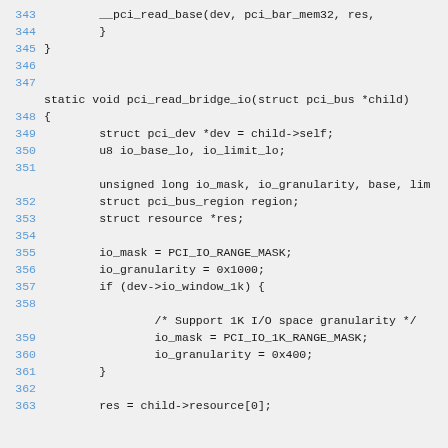Source code listing showing pci_read_bridge_io function, lines 343-363
343: (continuation) __pci_read_base(dev, pci_bar_mem32, res,
344:         }
345: }
346: (blank)
347: (blank)
static void pci_read_bridge_io(struct pci_bus *child)
348: {
349:         struct pci_dev *dev = child->self;
350:         u8 io_base_lo, io_limit_lo;
351: (blank)
unsigned long io_mask, io_granularity, base, lim
352:         struct pci_bus_region region;
353:         struct resource *res;
354: (blank)
355:         io_mask = PCI_IO_RANGE_MASK;
356:         io_granularity = 0x1000;
357:         if (dev->io_window_1k) {
358: (blank)
/* Support 1K I/O space granularity */
359:                 io_mask = PCI_IO_1K_RANGE_MASK;
360:                 io_granularity = 0x400;
361:         }
362: (blank)
363:         res = child->resource[0];